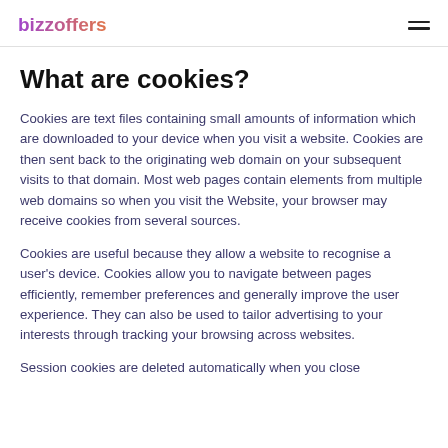bizzoffers
What are cookies?
Cookies are text files containing small amounts of information which are downloaded to your device when you visit a website. Cookies are then sent back to the originating web domain on your subsequent visits to that domain. Most web pages contain elements from multiple web domains so when you visit the Website, your browser may receive cookies from several sources.
Cookies are useful because they allow a website to recognise a user's device. Cookies allow you to navigate between pages efficiently, remember preferences and generally improve the user experience. They can also be used to tailor advertising to your interests through tracking your browsing across websites.
Session cookies are deleted automatically when you close